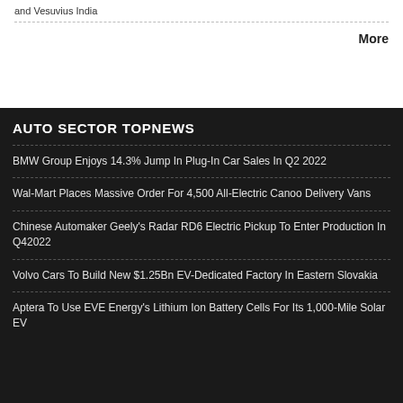and Vesuvius India
More
AUTO SECTOR TOPNEWS
BMW Group Enjoys 14.3% Jump In Plug-In Car Sales In Q2 2022
Wal-Mart Places Massive Order For 4,500 All-Electric Canoo Delivery Vans
Chinese Automaker Geely's Radar RD6 Electric Pickup To Enter Production In Q42022
Volvo Cars To Build New $1.25Bn EV-Dedicated Factory In Eastern Slovakia
Aptera To Use EVE Energy's Lithium Ion Battery Cells For Its 1,000-Mile Solar EV